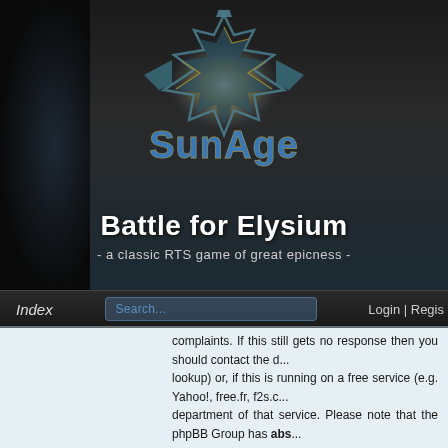[Figure (illustration): SunAge: Battle for Elysium website header banner with dark sci-fi game logo showing a mechanical/futuristic emblem above stylized text 'SunAge', subtitle 'Battle for Elysium - a classic RTS game of great epicness -', dark figure silhouette on left]
Index   Search...   Login | Regis...
Any of the administrators listed on the team page should be an... complaints. If this still gets no response then you should contact the d... lookup) or, if this is running on a free service (e.g. Yahoo!, free.fr, f2s.c... department of that service. Please note that the phpBB Group has abs... any way be held liable over how, where or by whom this board is used... relation to any legal (cease and desist, liable, defamatory comment, et... phpBB.com website or the discrete software of phpBB itself. If you do... party use of this software then you should expect a terse response or...
▲ Top